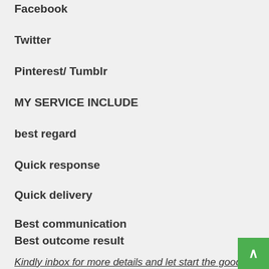Facebook
Twitter
Pinterest/ Tumblr
MY SERVICE INCLUDE
best regard
Quick response
Quick delivery
Best communication
Best outcome result
Kindly inbox for more details and let start the good project and get your expectations as soon as